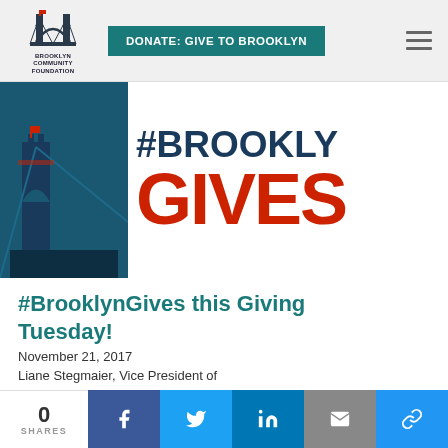[Figure (logo): Brooklyn Community Foundation logo with bridge icon and text]
DONATE: GIVE TO BROOKLYN
[Figure (illustration): #BrooklynGives banner with stylized Brooklyn Bridge graphic and large text reading #BROOKLYNGIVES]
#BrooklynGives this Giving Tuesday!
November 21, 2017
Liane Stegmaier, Vice President of Communications and Strategy (She/Her/Hers)
0 SHARES